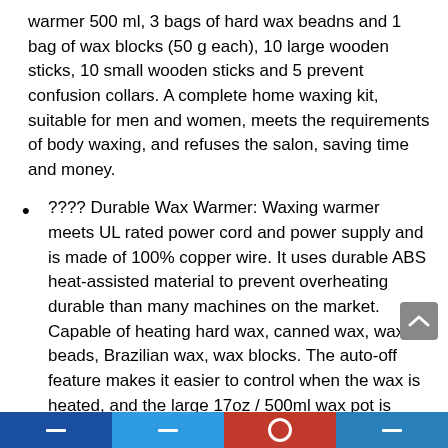warmer 500 ml, 3 bags of hard wax beadns and 1 bag of wax blocks (50 g each), 10 large wooden sticks, 10 small wooden sticks and 5 prevent confusion collars. A complete home waxing kit, suitable for men and women, meets the requirements of body waxing, and refuses the salon, saving time and money.
???? Durable Wax Warmer: Waxing warmer meets UL rated power cord and power supply and is made of 100% copper wire. It uses durable ABS heat-assisted material to prevent overheating durable than many machines on the market. Capable of heating hard wax, canned wax, wax beads, Brazilian wax, wax blocks. The auto-off feature makes it easier to control when the wax is heated, and the large 17oz / 500ml wax pot is easy